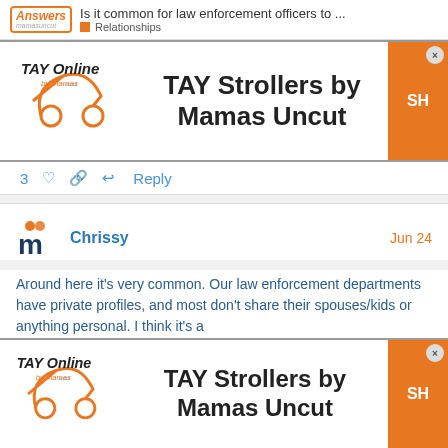Is it common for law enforcement officers to ... | Relationships
[Figure (advertisement): TAY Online by Mamas Uncut - TAY Strollers by Mamas Uncut ad banner with SHOP button]
3 ♡ 🔗 ↩ Reply
Chrissy  Jun 24
Around here it's very common. Our law enforcement departments have private profiles, and most don't share their spouses/kids or anything personal. I think it's a
[Figure (advertisement): TAY Online by Mamas Uncut - TAY Strollers by Mamas Uncut ad banner with SHOP button (bottom)]